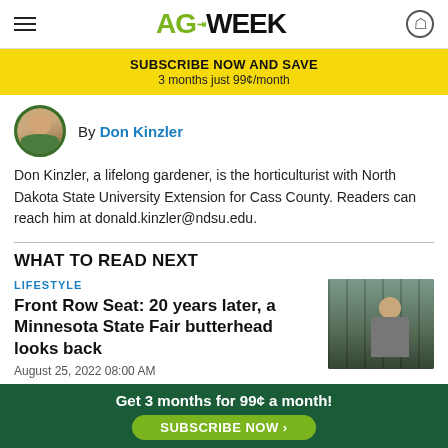AGWEEK
SUBSCRIBE NOW AND SAVE
3 months just 99¢/month
By Don Kinzler
Don Kinzler, a lifelong gardener, is the horticulturist with North Dakota State University Extension for Cass County. Readers can reach him at donald.kinzler@ndsu.edu.
WHAT TO READ NEXT
LIFESTYLE
Front Row Seat: 20 years later, a Minnesota State Fair butterhead looks back
August 25, 2022 08:00 AM
[Figure (photo): Person smiling in front of dairy barn]
Get 3 months for 99¢ a month!
SUBSCRIBE NOW ›